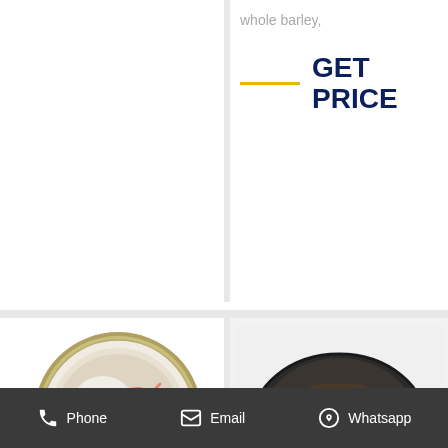whole barley,
GET PRICE
[Figure (photo): Open can of pet food showing shrimp pieces in a white/cream sauce, viewed from above, with gold/olive colored can rim]
Pet Shop Direct | Online Pet
[Figure (photo): Dark bowl filled with brown kibble topped with white/cream and yellow/gold cube-shaped food pieces, on a light grey background]
Sheba® Premium Cat
Phone   Email   Whatsapp